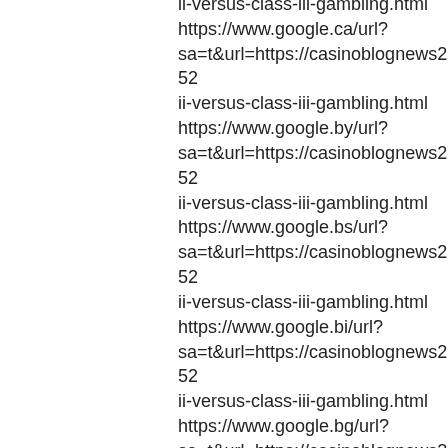ii-versus-class-iii-gambling.html https://www.google.ca/url? sa=t&url=https://casinoblognews252 ii-versus-class-iii-gambling.html https://www.google.by/url? sa=t&url=https://casinoblognews252 ii-versus-class-iii-gambling.html https://www.google.bs/url? sa=t&url=https://casinoblognews252 ii-versus-class-iii-gambling.html https://www.google.bi/url? sa=t&url=https://casinoblognews252 ii-versus-class-iii-gambling.html https://www.google.bg/url? sa=t&url=https://casinoblognews252 ii-versus-class-iii-gambling.html https://www.google.bf/url? sa=t&url=https://casinoblognews252